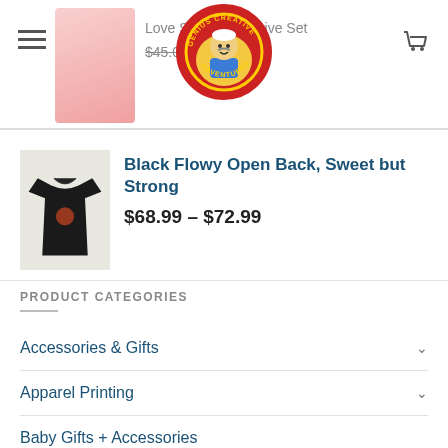Love Struck | Creative Set — $45.00 $17.99
[Figure (logo): Genius Creative Adventures circular logo with cartoon character]
Black Flowy Open Back, Sweet but Strong
$68.99 – $72.99
PRODUCT CATEGORIES
Accessories & Gifts
Apparel Printing
Baby Gifts + Accessories
Baby Gifts + Accessories Sale
Books + Paper
Contact Us